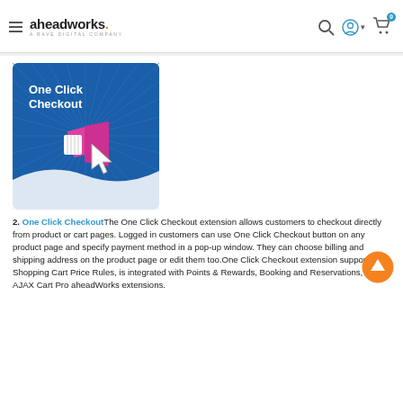aheadworks. A RAVE DIGITAL COMPANY
[Figure (illustration): One Click Checkout product image: blue background with radiating lines, white wave at bottom, pink megaphone with cursor icon, white text 'One Click Checkout']
2. One Click Checkout The One Click Checkout extension allows customers to checkout directly from product or cart pages. Logged in customers can use One Click Checkout button on any product page and specify payment method in a pop-up window. They can choose billing and shipping address on the product page or edit them too.One Click Checkout extension supports Shopping Cart Price Rules, is integrated with Points & Rewards, Booking and Reservations, and AJAX Cart Pro aheadWorks extensions.